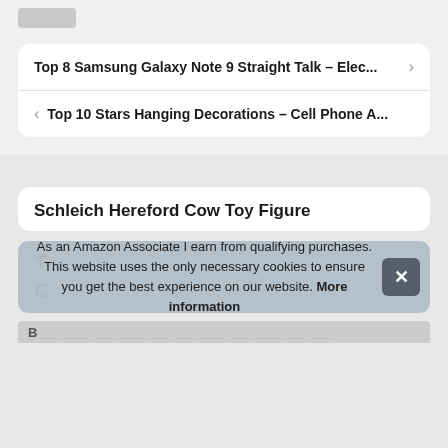[Figure (screenshot): Partial logo/header at top of page]
Top 8 Samsung Galaxy Note 9 Straight Talk – Elec...
Top 10 Stars Hanging Decorations – Cell Phone A...
Schleich Hereford Cow Toy Figure
As an Amazon Associate I earn from qualifying purchases. This website uses the only necessary cookies to ensure you get the best experience on our website. More information
Partial bottom text row (truncated)